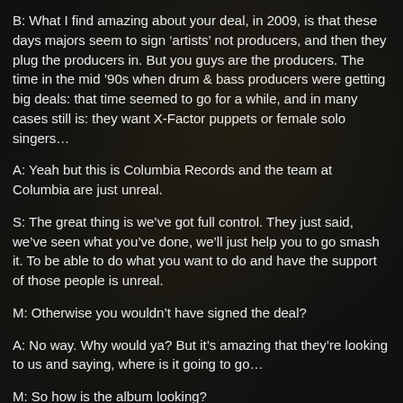B: What I find amazing about your deal, in 2009, is that these days majors seem to sign ‘artists’ not producers, and then they plug the producers in. But you guys are the producers. The time in the mid ’90s when drum & bass producers were getting big deals: that time seemed to go for a while, and in many cases still is: they want X-Factor puppets or female solo singers…
A: Yeah but this is Columbia Records and the team at Columbia are just unreal.
S: The great thing is we’ve got full control. They just said, we’ve seen what you’ve done, we’ll just help you to go smash it. To be able to do what you want to do and have the support of those people is unreal.
M: Otherwise you wouldn’t have signed the deal?
A: No way. Why would ya? But it’s amazing that they’re looking to us and saying, where is it going to go…
M: So how is the album looking?